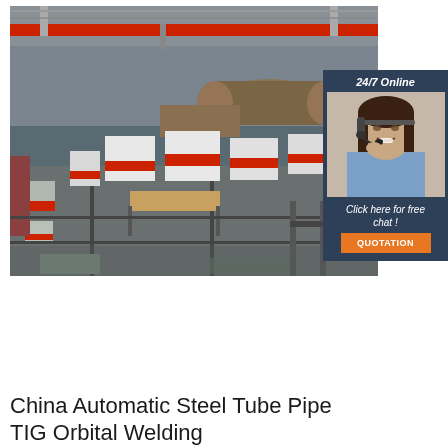[Figure (photo): Industrial factory floor showing steel tube pipe welding machinery. Large warehouse space with overhead red crane beam, multiple white and red welding/processing machines on rails, large cylindrical pipe/tube sections visible in background, industrial steel structure.]
[Figure (photo): 24/7 Online chat widget with photo of smiling woman wearing headset (customer service representative), blue shirt, dark hair. Widget has dark blue background with '24/7 Online' text, 'Click here for free chat!' text, and orange 'QUOTATION' button.]
China Automatic Steel Tube Pipe TIG Orbital Welding